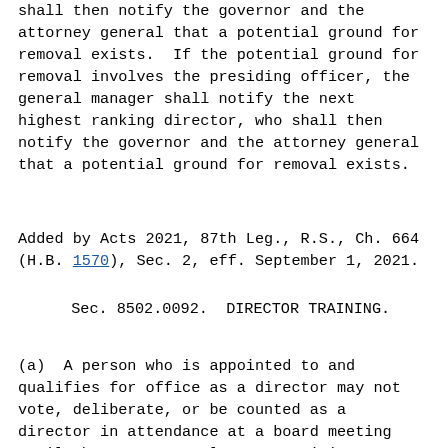shall then notify the governor and the attorney general that a potential ground for removal exists.  If the potential ground for removal involves the presiding officer, the general manager shall notify the next highest ranking director, who shall then notify the governor and the attorney general that a potential ground for removal exists.
Added by Acts 2021, 87th Leg., R.S., Ch. 664 (H.B. 1570), Sec. 2, eff. September 1, 2021.
Sec. 8502.0092.  DIRECTOR TRAINING.
(a)  A person who is appointed to and qualifies for office as a director may not vote, deliberate, or be counted as a director in attendance at a board meeting until the person completes a training program that complies with this section.
(b)  The training program must provide...